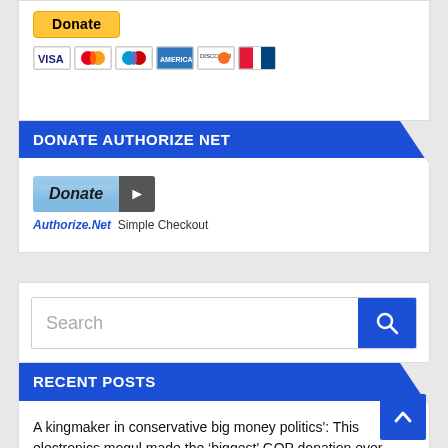[Figure (other): PayPal Donate button with credit card icons (Visa, Mastercard, Maestro, American Express, Discover, UnionPay)]
DONATE AUTHORIZE NET
[Figure (other): Authorize.Net Simple Checkout Donate button with arrow]
Authorize.Net Simple Checkout
[Figure (other): Search bar with magnifying glass button]
RECENT POSTS
A kingmaker in conservative big money politics': This electronics mogul made the ‘biggest’ GOP donation ever